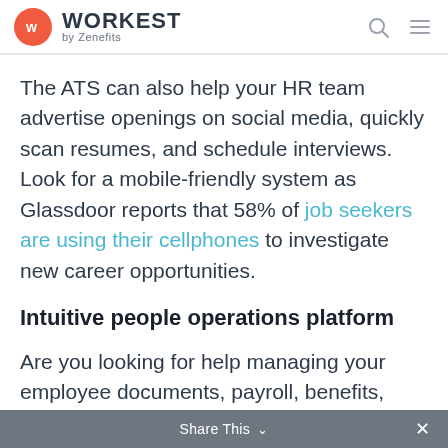WORKEST by Zenefits
The ATS can also help your HR team advertise openings on social media, quickly scan resumes, and schedule interviews. Look for a mobile-friendly system as Glassdoor reports that 58% of job seekers are using their cellphones to investigate new career opportunities.
Intuitive people operations platform
Are you looking for help managing your employee documents, payroll, benefits,
Share This ×